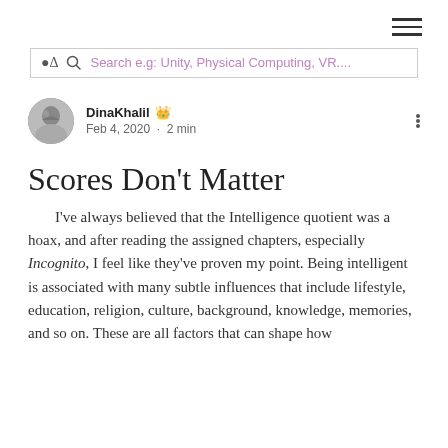☰ (menu icon)
Search e.g: Unity, Physical Computing, VR....
DinaKhalil Admin  Feb 4, 2020 · 2 min
Scores Don't Matter
I've always believed that the Intelligence quotient was a hoax, and after reading the assigned chapters, especially Incognito, I feel like they've proven my point. Being intelligent is associated with many subtle influences that include lifestyle, education, religion, culture, background, knowledge, memories, and so on. These are all factors that can shape how